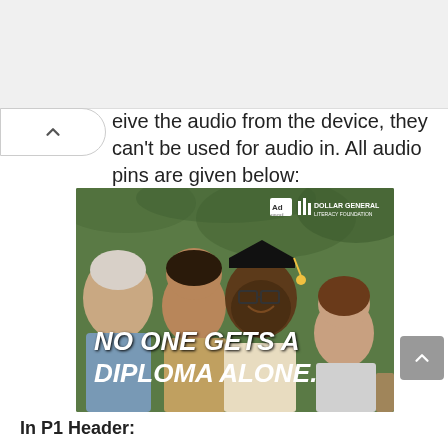eive the audio from the device, they can't be used for audio in. All audio pins are given below:
[Figure (photo): Advertisement photo showing people at a graduation ceremony. A man wearing a graduation cap and glasses is central. Bold white italic text reads 'NO ONE GETS A DIPLOMA ALONE.' The Ad Council and Dollar General Literacy Foundation logos appear in the upper right corner.]
In P1 Header: